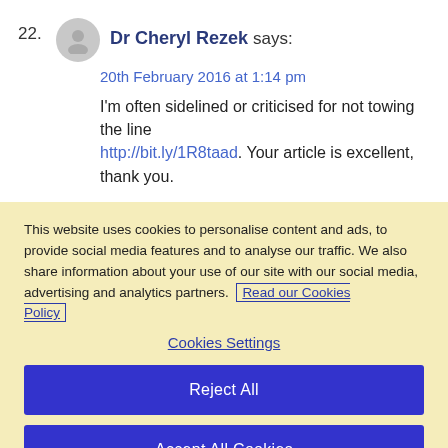22. Dr Cheryl Rezek says:
20th February 2016 at 1:14 pm
I'm often sidelined or criticised for not towing the line http://bit.ly/1R8taad. Your article is excellent, thank you.
This website uses cookies to personalise content and ads, to provide social media features and to analyse our traffic. We also share information about your use of our site with our social media, advertising and analytics partners. Read our Cookies Policy
Cookies Settings
Reject All
Accept All Cookies